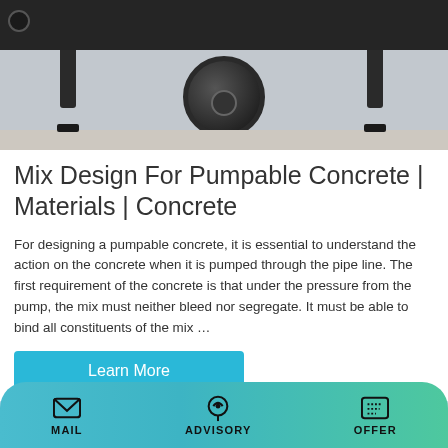[Figure (photo): Bottom portion of a concrete pump trailer showing large black tire/wheel, dark metal frame, support legs, and concrete floor background]
Mix Design For Pumpable Concrete | Materials | Concrete
For designing a pumpable concrete, it is essential to understand the action on the concrete when it is pumped through the pipe line. The first requirement of the concrete is that under the pressure from the pump, the mix must neither bleed nor segregate. It must be able to bind all constituents of the mix …
Learn More
[Figure (photo): Partial view of construction crane or scaffolding against a light blue sky]
MAIL  ADVISORY  OFFER